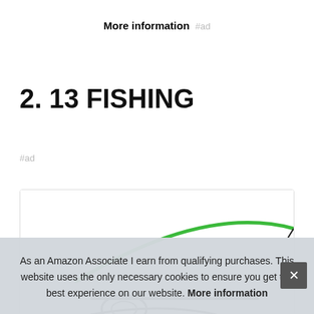More information #ad
2. 13 FISHING
#ad
[Figure (photo): A green fishing rod arched against a white background, product card with border]
As an Amazon Associate I earn from qualifying purchases. This website uses the only necessary cookies to ensure you get the best experience on our website. More information